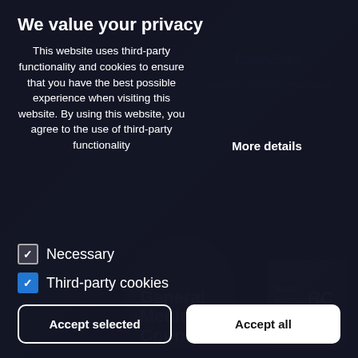[Figure (screenshot): Cookie/privacy consent banner overlay on a dark website background. The overlay takes up most of the screen.]
We value your privacy
This website uses third-party functionality and cookies to ensure that you have the best possible experience when visiting this website. By using this website, you agree to the use of third-party functionality
Privacy Policy
balintpsychiatrynicobee.co.uk
More details
Necessary
Third-party cookies
Accept selected
Accept all